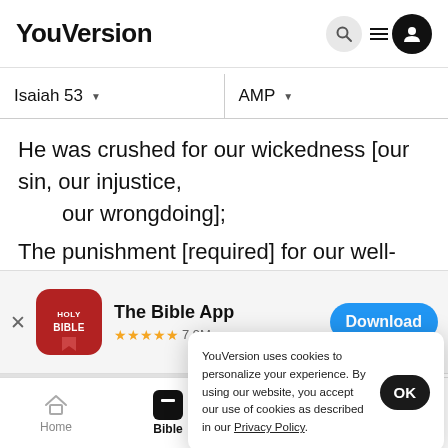YouVersion
Isaiah 53   AMP
He was crushed for our wickedness [our sin, our injustice, our wrongdoing];
The punishment [required] for our well-being fell on Him
[Figure (screenshot): The Bible App promotional banner with app icon, 4.5 star rating, 7.9M reviews, and Download button]
We have t
B    Lo    our in
YouVersion uses cookies to personalize your experience. By using our website, you accept our use of cookies as described in our Privacy Policy.
Home   Bible   Plans   Videos